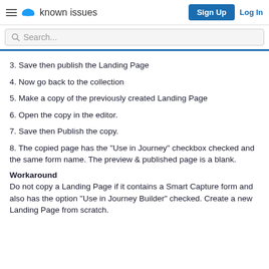known issues | Sign Up | Log In
3. Save then publish the Landing Page
4. Now go back to the collection
5. Make a copy of the previously created Landing Page
6. Open the copy in the editor.
7. Save then Publish the copy.
8. The copied page has the "Use in Journey" checkbox checked and the same form name. The preview & published page is a blank.
Workaround
Do not copy a Landing Page if it contains a Smart Capture form and also has the option "Use in Journey Builder" checked. Create a new Landing Page from scratch.